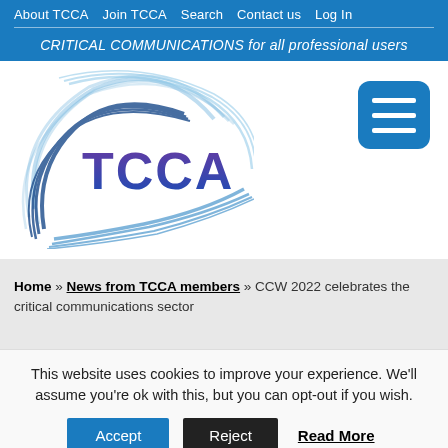About TCCA  Join TCCA  Search  Contact us  Log In
CRITICAL COMMUNICATIONS for all professional users
[Figure (logo): TCCA logo with blue swirl lines and purple/blue TCCA text]
[Figure (other): Blue rounded-square hamburger menu icon with three white horizontal lines]
Home » News from TCCA members » CCW 2022 celebrates the critical communications sector
This website uses cookies to improve your experience. We'll assume you're ok with this, but you can opt-out if you wish.
Accept   Reject   Read More